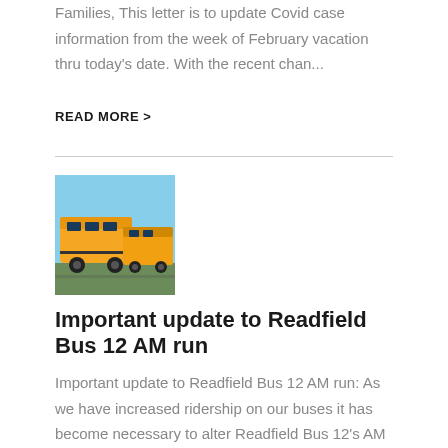Families, This letter is to update Covid case information from the week of February vacation thru today's date. With the recent chan...
READ MORE >
[Figure (photo): A row of yellow school buses parked in a lot under a blue sky]
Important update to Readfield Bus 12 AM run
Important update to Readfield Bus 12 AM run: As we have increased ridership on our buses it has become necessary to alter Readfield Bus 12's AM run schedule. This